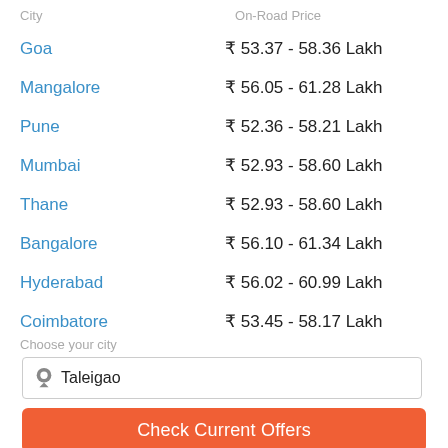| City | On-Road Price |
| --- | --- |
| Goa | ₹ 53.37 - 58.36 Lakh |
| Mangalore | ₹ 56.05 - 61.28 Lakh |
| Pune | ₹ 52.36 - 58.21 Lakh |
| Mumbai | ₹ 52.93 - 58.60 Lakh |
| Thane | ₹ 52.93 - 58.60 Lakh |
| Bangalore | ₹ 56.10 - 61.34 Lakh |
| Hyderabad | ₹ 56.02 - 60.99 Lakh |
| Coimbatore | ₹ 53.45 - 58.17 Lakh |
Choose your city
Taleigao
Check Current Offers